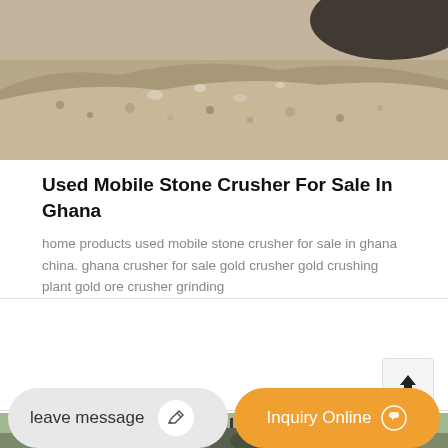[Figure (photo): Close-up photo of crushed stone/gravel aggregate, light grey and sandy colored material]
Used Mobile Stone Crusher For Sale In Ghana
home products used mobile stone crusher for sale in ghana china. ghana crusher for sale gold crusher gold crushing plant gold ore crusher grinding
[Figure (photo): Partial view of industrial machinery, appears to be a stone crushing plant]
leave message
Inquiry Online